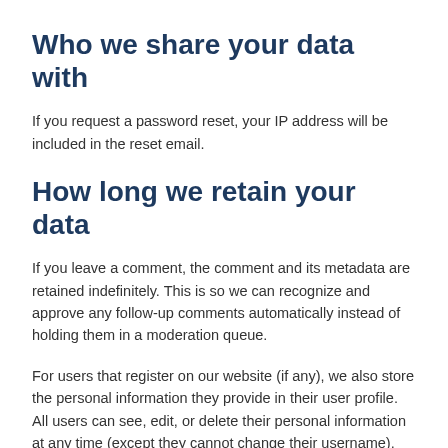Who we share your data with
If you request a password reset, your IP address will be included in the reset email.
How long we retain your data
If you leave a comment, the comment and its metadata are retained indefinitely. This is so we can recognize and approve any follow-up comments automatically instead of holding them in a moderation queue.
For users that register on our website (if any), we also store the personal information they provide in their user profile. All users can see, edit, or delete their personal information at any time (except they cannot change their username). Website